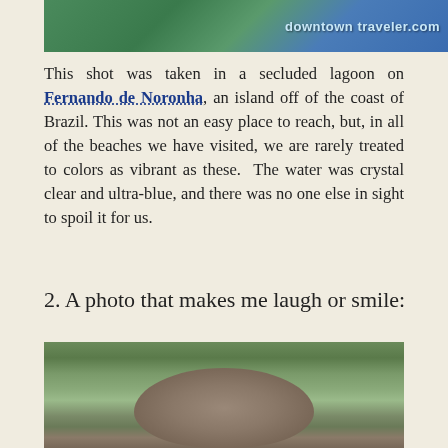[Figure (photo): Partial view of a scenic coastal lagoon image with 'downtowntraveler.com' watermark text visible]
This shot was taken in a secluded lagoon on Fernando de Noronha, an island off of the coast of Brazil. This was not an easy place to reach, but, in all of the beaches we have visited, we are rarely treated to colors as vibrant as these.  The water was crystal clear and ultra-blue, and there was no one else in sight to spoil it for us.
2. A photo that makes me laugh or smile:
[Figure (photo): Bottom portion of a photo showing what appears to be a kangaroo's back/rump in the foreground with trees and greenery in the background]